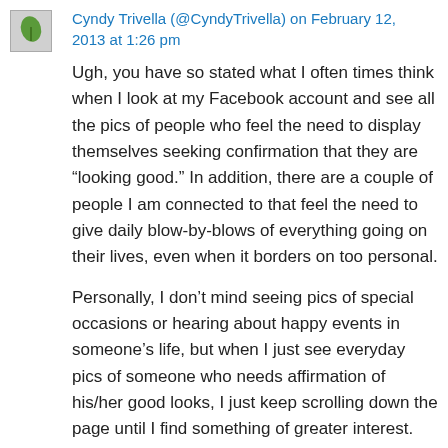Cyndy Trivella (@CyndyTrivella) on February 12, 2013 at 1:26 pm
Ugh, you have so stated what I often times think when I look at my Facebook account and see all the pics of people who feel the need to display themselves seeking confirmation that they are “looking good.” In addition, there are a couple of people I am connected to that feel the need to give daily blow-by-blows of everything going on their lives, even when it borders on too personal.
Personally, I don’t mind seeing pics of special occasions or hearing about happy events in someone’s life, but when I just see everyday pics of someone who needs affirmation of his/her good looks, I just keep scrolling down the page until I find something of greater interest. IMHO